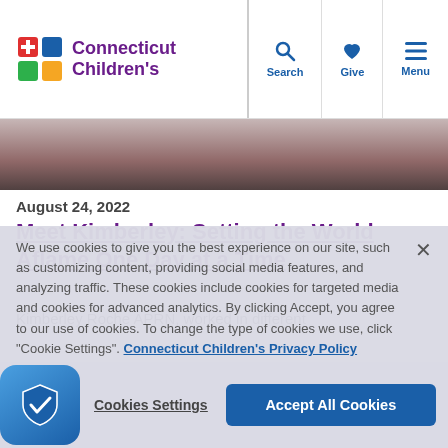Connecticut Children's — Search, Give, Menu
[Figure (photo): Partial photo of a person, cropped at the top of the page below the header]
August 24, 2022
Meet Kimberley: Setting the World Aflame One Day at a Time
Kimberley Roche APRN, worked in different
We use cookies to give you the best experience on our site, such as customizing content, providing social media features, and analyzing traffic. These cookies include cookies for targeted media and cookies for advanced analytics. By clicking Accept, you agree to our use of cookies. To change the type of cookies we use, click "Cookie Settings". Connecticut Children's Privacy Policy
Cookies Settings
Accept All Cookies